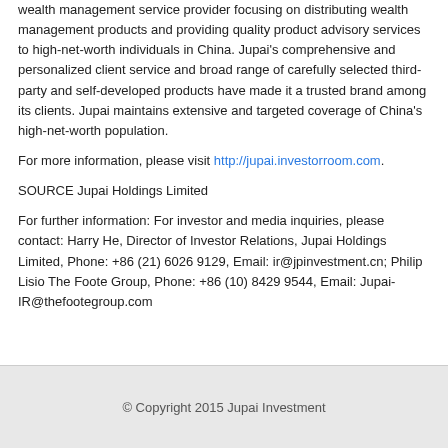wealth management service provider focusing on distributing wealth management products and providing quality product advisory services to high-net-worth individuals in China. Jupai's comprehensive and personalized client service and broad range of carefully selected third-party and self-developed products have made it a trusted brand among its clients. Jupai maintains extensive and targeted coverage of China's high-net-worth population.
For more information, please visit http://jupai.investorroom.com.
SOURCE Jupai Holdings Limited
For further information: For investor and media inquiries, please contact: Harry He, Director of Investor Relations, Jupai Holdings Limited, Phone: +86 (21) 6026 9129, Email: ir@jpinvestment.cn; Philip Lisio The Foote Group, Phone: +86 (10) 8429 9544, Email: Jupai-IR@thefootegroup.com
© Copyright 2015 Jupai Investment